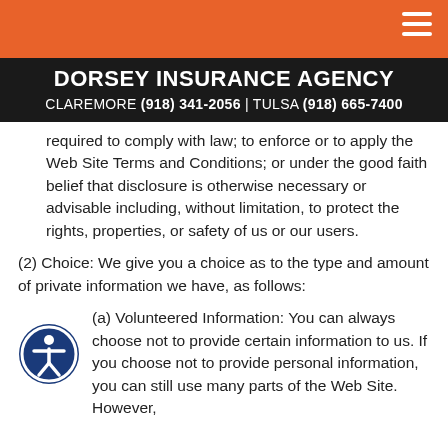DORSEY INSURANCE AGENCY
CLAREMORE (918) 341-2056 | TULSA (918) 665-7400
required to comply with law; to enforce or to apply the Web Site Terms and Conditions; or under the good faith belief that disclosure is otherwise necessary or advisable including, without limitation, to protect the rights, properties, or safety of us or our users.
(2) Choice: We give you a choice as to the type and amount of private information we have, as follows:
(a) Volunteered Information: You can always choose not to provide certain information to us. If you choose not to provide personal information, you can still use many parts of the Web Site. However,